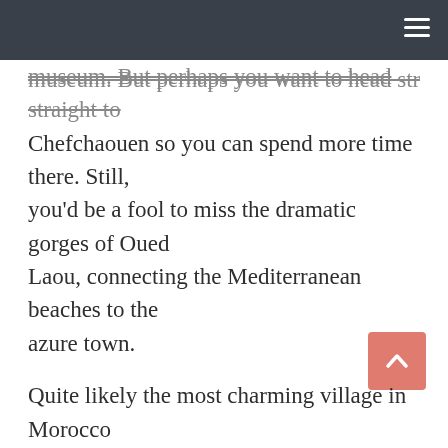museum. But perhaps you want to head straight to Chefchaouen so you can spend more time there. Still, you'd be a fool to miss the dramatic gorges of Oued Laou, connecting the Mediterranean beaches to the azure town.
Quite likely the most charming village in Morocco